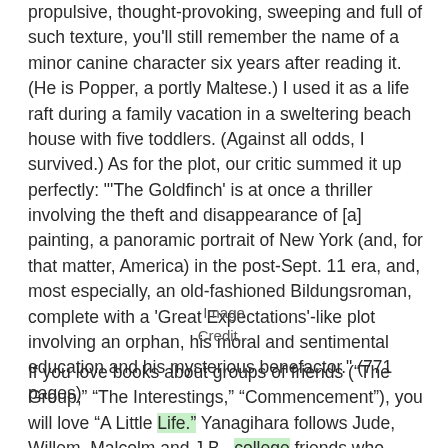propulsive, thought-provoking, sweeping and full of such texture, you'll still remember the name of a minor canine character six years after reading it. (He is Popper, a portly Maltese.) I used it as a life raft during a family vacation in a sweltering beach house with five toddlers. (Against all odds, I survived.) As for the plot, our critic summed it up perfectly: "'The Goldfinch' is at once a thriller involving the theft and disappearance of [a] painting, a panoramic portrait of New York (and, for that matter, America) in the post-Sept. 11 era, and, most especially, an old-fashioned Bildungsroman, complete with a 'Great Expectations'-like plot involving an orphan, his moral and sentimental education and his mysterious benefactor." (771 pages)
Image
Credit...
If you love books about groups of friends (“The Group,” “The Interestings,” “Commencement”), you will love “A Little Life.” Yanagihara follows Jude, Willem, Malcolm and J.B., college friends who move to New York City at an unspecified time